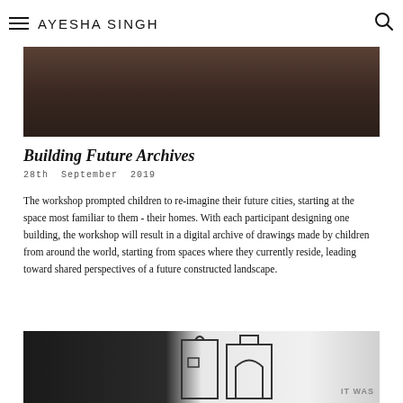AYESHA SINGH
[Figure (photo): Dark overhead photo of people gathered, likely workshop participants, seen from above with dark hair and clothing visible]
Building Future Archives
28th September 2019
The workshop prompted children to re-imagine their future cities, starting at the space most familiar to them - their homes. With each participant designing one building, the workshop will result in a digital archive of drawings made by children from around the world, starting from spaces where they currently reside, leading toward shared perspectives of a future constructed landscape.
[Figure (photo): Interior gallery/museum space with dark walls on the left and a large architectural line drawing of building facades on a white wall on the right. Text 'IT WAS' visible at bottom right.]